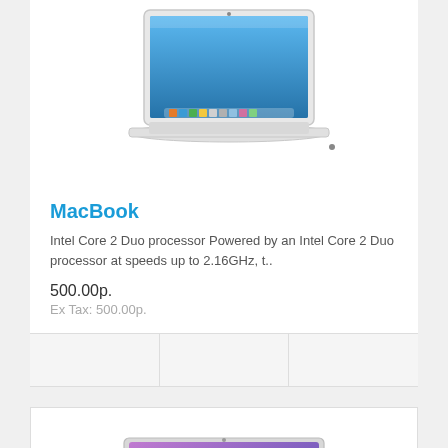[Figure (photo): White MacBook laptop open, showing blue desktop wallpaper]
MacBook
Intel Core 2 Duo processor Powered by an Intel Core 2 Duo processor at speeds up to 2.16GHz, t..
500.00р.
Ex Tax: 500.00р.
[Figure (photo): MacBook Air laptop open, showing purple/pink desktop wallpaper]